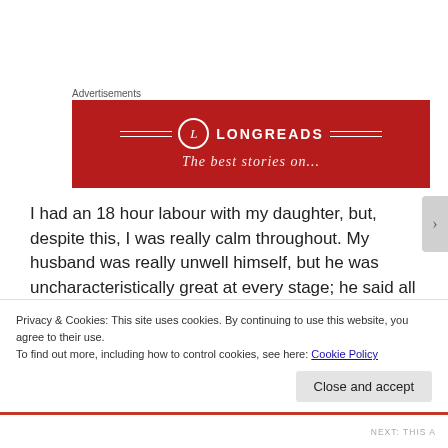Advertisements
[Figure (logo): Longreads advertisement banner — red background with circular L logo and decorative lines, brand name LONGREADS in white bold letters, tagline 'The best stories on...' partially visible]
I had an 18 hour labour with my daughter, but, despite this, I was really calm throughout. My husband was really unwell himself, but he was uncharacteristically great at every stage; he said all the right things, was reassuring, encouraging and comforting. He's not someone who wears
Privacy & Cookies: This site uses cookies. By continuing to use this website, you agree to their use.
To find out more, including how to control cookies, see here: Cookie Policy
Close and accept